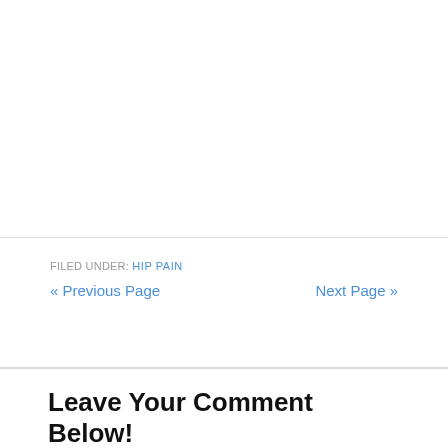FILED UNDER: HIP PAIN
« Previous Page
Next Page »
Leave Your Comment Below!